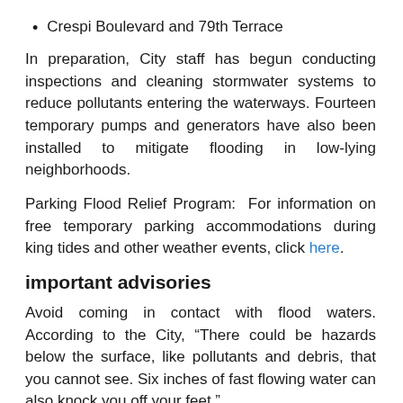Crespi Boulevard and 79th Terrace
In preparation, City staff has begun conducting inspections and cleaning stormwater systems to reduce pollutants entering the waterways. Fourteen temporary pumps and generators have also been installed to mitigate flooding in low-lying neighborhoods.
Parking Flood Relief Program: For information on free temporary parking accommodations during king tides and other weather events, click here.
important advisories
Avoid coming in contact with flood waters. According to the City, “There could be hazards below the surface, like pollutants and debris, that you cannot see. Six inches of fast flowing water can also knock you off your feet.”